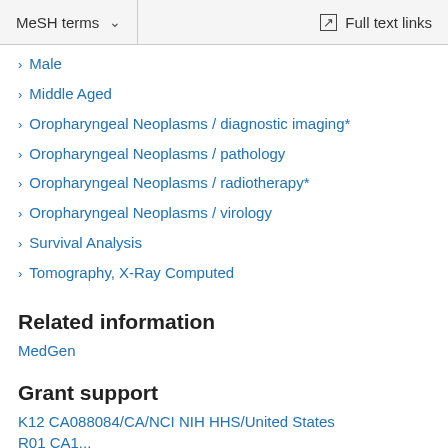MeSH terms   Full text links
Male
Middle Aged
Oropharyngeal Neoplasms / diagnostic imaging*
Oropharyngeal Neoplasms / pathology
Oropharyngeal Neoplasms / radiotherapy*
Oropharyngeal Neoplasms / virology
Survival Analysis
Tomography, X-Ray Computed
Related information
MedGen
Grant support
K12 CA088084/CA/NCI NIH HHS/United States
R01 CA...